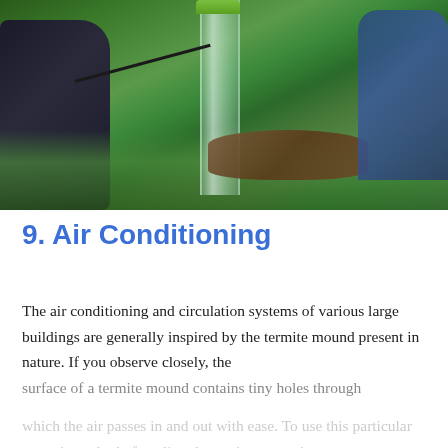[Figure (photo): Outdoor nature scene with dark equipment/camera on the left, a clear glass tube or cylinder with a green cap in the center surrounded by grass and greenery, a wooden log in the background right, and a blue figure or object on the far right.]
9. Air Conditioning
The air conditioning and circulation systems of various large buildings are generally inspired by the termite mound present in nature. If you observe closely, the surface of a termite mound contains tiny holes through which the air passes in and out with ease. To use this particular nature's method of cooling the environment, it